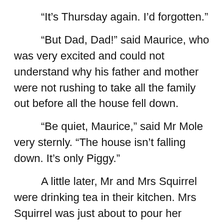“It’s Thursday again. I’d forgotten.”
“But Dad, Dad!” said Maurice, who was very excited and could not understand why his father and mother were not rushing to take all the family out before all the house fell down.
“Be quiet, Maurice,” said Mr Mole very sternly. “The house isn’t falling down. It’s only Piggy.”
A little later, Mr and Mrs Squirrel were drinking tea in their kitchen. Mrs Squirrel was just about to pour her husband another cup when the room began to shudder and shake.